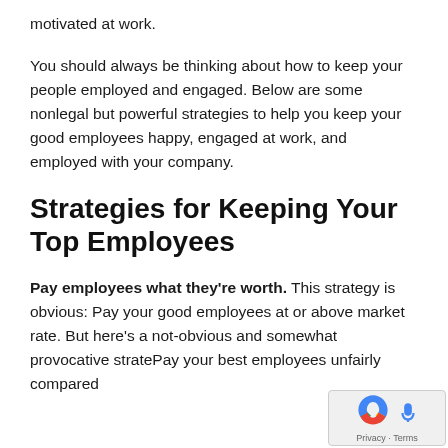motivated at work.
You should always be thinking about how to keep your people employed and engaged. Below are some nonlegal but powerful strategies to help you keep your good employees happy, engaged at work, and employed with your company.
Strategies for Keeping Your Top Employees
Pay employees what they're worth. This strategy is obvious: Pay your good employees at or above market rate. But here's a not-obvious and somewhat provocative strate... Pay your best employees unfairly compared